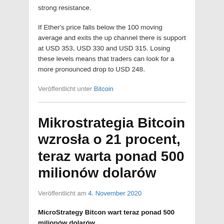strong resistance.
If Ether's price falls below the 100 moving average and exits the up channel there is support at USD 353, USD 330 and USD 315. Losing these levels means that traders can look for a more pronounced drop to USD 248.
Veröffentlicht unter Bitcoin
Mikrostrategia Bitcoin wzrosła o 21 procent, teraz warta ponad 500 milionów dolarów
Veröffentlicht am 4. November 2020
MicroStrategy Bitcon wart teraz ponad 500 milionów dolarów